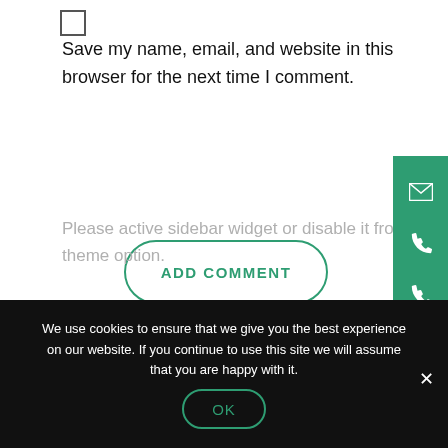Save my name, email, and website in this browser for the next time I comment.
ADD COMMENT
Please active sidebar widget or disable it from theme option.
We use cookies to ensure that we give you the best experience on our website. If you continue to use this site we will assume that you are happy with it.
OK